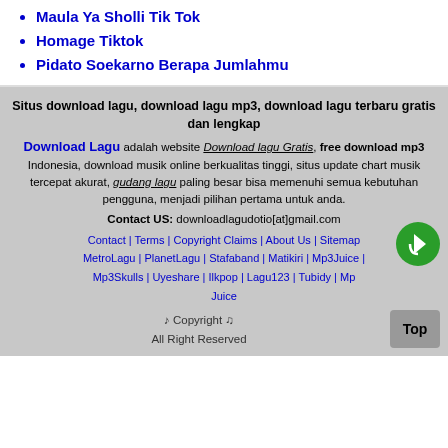Maula Ya Sholli Tik Tok
Homage Tiktok
Pidato Soekarno Berapa Jumlahmu
Situs download lagu, download lagu mp3, download lagu terbaru gratis dan lengkap
Download Lagu adalah website Download lagu Gratis, free download mp3 Indonesia, download musik online berkualitas tinggi, situs update chart musik tercepat akurat, gudang lagu paling besar bisa memenuhi semua kebutuhan pengguna, menjadi pilihan pertama untuk anda.
Contact US: downloadlagudotio[at]gmail.com
Contact | Terms | Copyright Claims | About Us | Sitemap MetroLagu | PlanetLagu | Stafaband | Matikiri | Mp3Juice | Mp3Skulls | Uyeshare | Ilkpop | Lagu123 | Tubidy | Mp3 Juice
♪ Copyright ♫
All Right Reserved